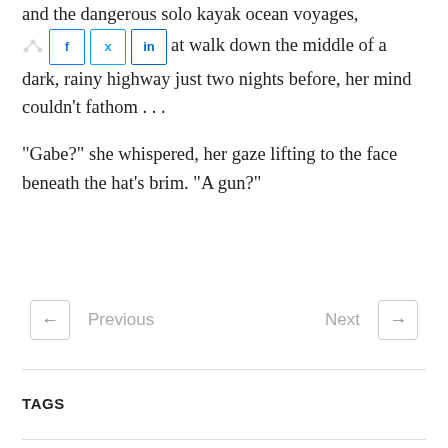and the dangerous solo kayak ocean voyages, not to mention that walk down the middle of a dark, rainy highway just two nights before, her mind couldn't fathom . . .
“Gabe?” she whispered, her gaze lifting to the face beneath the hat’s brim. “A gun?”
Previous | Next
TAGS